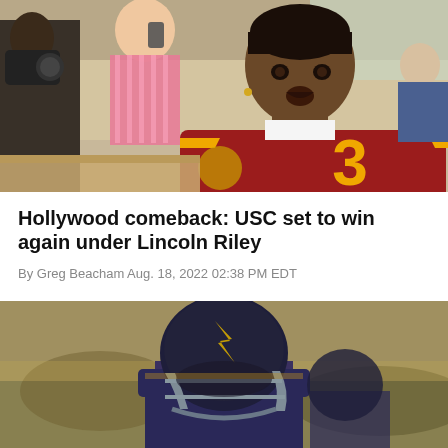[Figure (photo): Young man in a USC Trojans red and gold football jersey number 3, sitting at a table in an indoor setting with other people in the background.]
Hollywood comeback: USC set to win again under Lincoln Riley
By Greg Beacham Aug. 18, 2022 02:38 PM EDT
[Figure (photo): Football player wearing a dark navy/purple helmet with gold logo, in game action on the field with blurred background.]